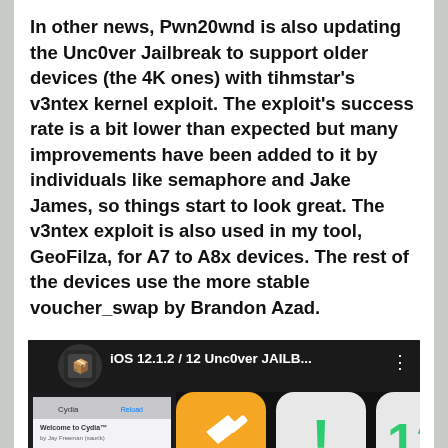In other news, Pwn20wnd is also updating the Unc0ver Jailbreak to support older devices (the 4K ones) with tihmstar's v3ntex kernel exploit. The exploit's success rate is a bit lower than expected but many improvements have been added to it by individuals like semaphore and Jake James, so things start to look great. The v3ntex exploit is also used in my tool, GeoFilza, for A7 to A8x devices. The rest of the devices use the more stable voucher_swap by Brandon Azad.
[Figure (screenshot): YouTube video thumbnail for 'iOS 12.1.2 / 12 Unc0ver JAILB...' showing iOS app icons including Cydia, and large italic text reading 'iOS 12/12.1' and 'UNC0VER' with a YouTube play button overlay]